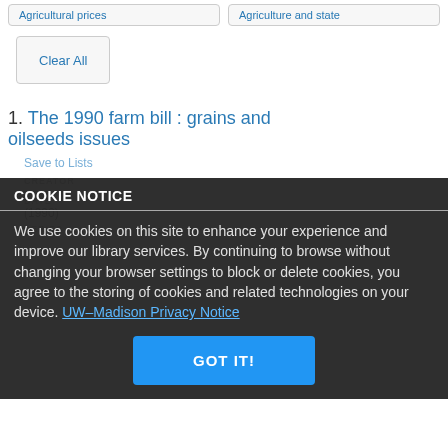Agricultural prices | Agriculture and state
Clear All
1. The 1990 farm bill : grains and oilseeds issues
Save to Lists
CREATOR
DATE
(1990)
SERIES
COOKIE NOTICE
We use cookies on this site to enhance your experience and improve our library services. By continuing to browse without changing your browser settings to block or delete cookies, you agree to the storing of cookies and related technologies on your device. UW–Madison Privacy Notice
GOT IT!